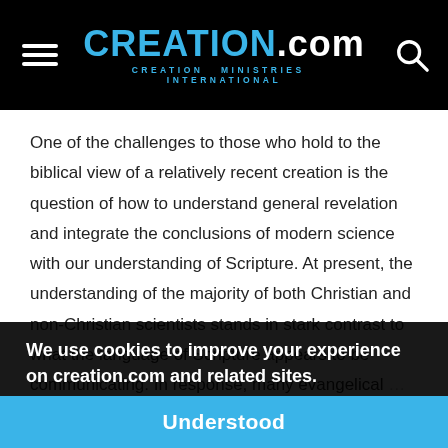CREATION.com — CREATION MINISTRIES INTERNATIONAL
One of the challenges to those who hold to the biblical view of a relatively recent creation is the question of how to understand general revelation and integrate the conclusions of modern science with our understanding of Scripture. At present, the understanding of the majority of both Christian and non-Christian scientists stands in stark contrast to what the language of Scripture appears to be communicating. In response, many evangelical … their interpretation … teaches about creation to bring it in line with the current scientific consensus. But is this the correct approach to the …
We use cookies to improve your experience on creation.com and related sites.
Privacy Policy
Understood